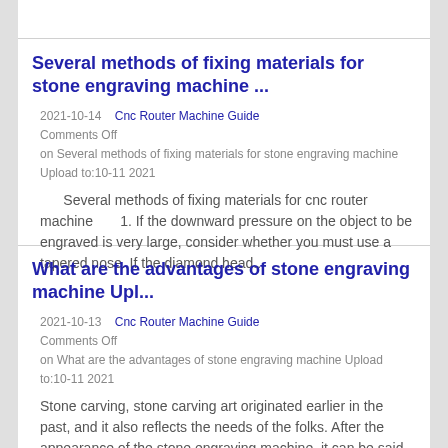Several methods of fixing materials for stone engraving machine ...
2021-10-14  Cnc Router Machine Guide Comments Off on Several methods of fixing materials for stone engraving machine Upload to:10-11 2021
Several methods of fixing materials for cnc router machine      1. If the downward pressure on the object to be engraved is very large, consider whether you must use a tapered nose. If the diamond head...
What are the advantages of stone engraving machine Upl...
2021-10-13  Cnc Router Machine Guide Comments Off on What are the advantages of stone engraving machine Upload to:10-11 2021
Stone carving, stone carving art originated earlier in the past, and it also reflects the needs of the folks. After the appearance of the stone engraving machine, it can be said...